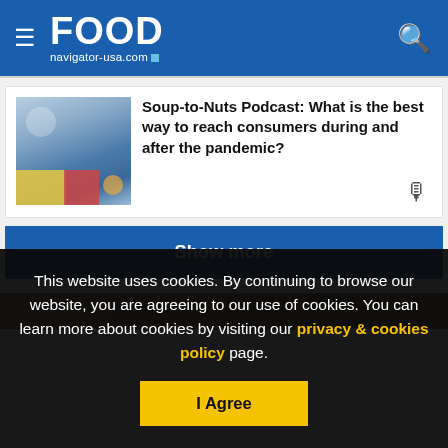FOOD navigator-usa.com
Soup-to-Nuts Podcast: What is the best way to reach consumers during and after the pandemic?
Show more
This website uses cookies. By continuing to browse our website, you are agreeing to our use of cookies. You can learn more about cookies by visiting our privacy & cookies policy page.
I Agree